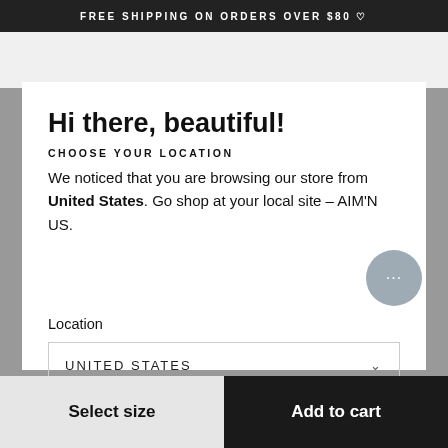FREE SHIPPING ON ORDERS OVER $80 ♡
Hi there, beautiful!
CHOOSE YOUR LOCATION
We noticed that you are browsing our store from United States. Go shop at your local site - AIM'N US.
Location
UNITED STATES
Select size
Add to cart